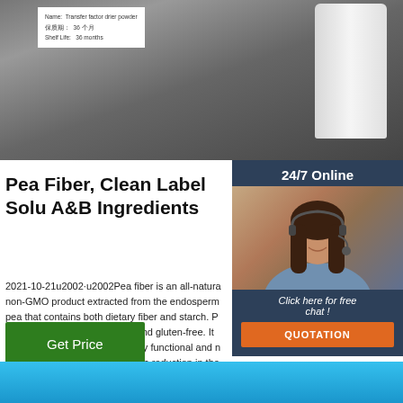[Figure (photo): Product photo showing white jar/container with label reading 'Name: Transfer factor drier powder', shelf life 36 months, against dark background]
Pea Fiber, Clean Label Solu A&B Ingredients
2021-10-21u2002·u2002Pea fiber is an all-natura non-GMO product extracted from the endosperm pea that contains both dietary fiber and starch. P allergen, cholesterol, lactose, and gluten-free. It source of dietary fiber with many functional and n benefits, including fat and caloric reduction in the
[Figure (photo): 24/7 Online chat widget showing a customer service agent with headset, with 'Click here for free chat!' text and QUOTATION button]
Get Price
[Figure (illustration): TOP scroll-to-top button with orange house/arrow icon]
[Figure (photo): Bottom blue gradient banner area]